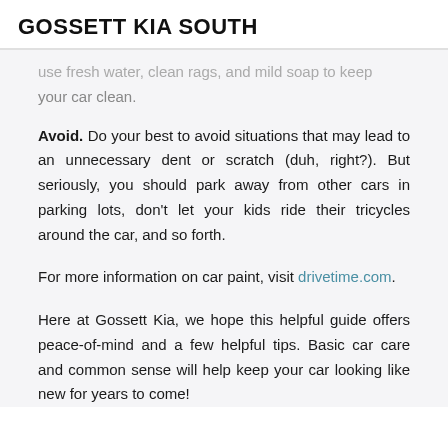GOSSETT KIA SOUTH
use fresh water, clean rags, and mild soap to keep your car clean.
Avoid. Do your best to avoid situations that may lead to an unnecessary dent or scratch (duh, right?). But seriously, you should park away from other cars in parking lots, don't let your kids ride their tricycles around the car, and so forth.
For more information on car paint, visit drivetime.com.
Here at Gossett Kia, we hope this helpful guide offers peace-of-mind and a few helpful tips. Basic car care and common sense will help keep your car looking like new for years to come!